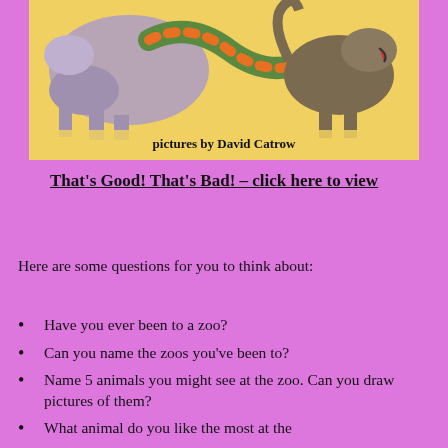[Figure (illustration): Book cover illustration showing fantastical animals including what appears to be a giraffe or large creature and a dragon-like creature on a yellow background, with text 'pictures by David Catrow' at the bottom]
That's Good! That's Bad! – click here to view
Here are some questions for you to think about:
Have you ever been to a zoo?
Can you name the zoos you've been to?
Name 5 animals you might see at the zoo. Can you draw pictures of them?
What animal do you like the most at the